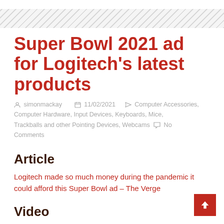Super Bowl 2021 ad for Logitech's latest products
simonmackay  11/02/2021  Computer Accessories, Computer Hardware, Input Devices, Keyboards, Mice, Trackballs and other Pointing Devices, Webcams  No Comments
Article
Logitech made so much money during the pandemic it could afford this Super Bowl ad – The Verge
Video